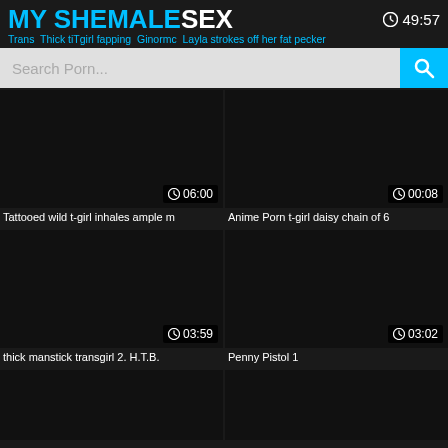MY SHEMALESEX  49:57
Trans Thick tiTgirl fapping Ginormc Layla strokes off her fat pecker
[Figure (screenshot): Search bar with placeholder text 'Search Porn...' and blue search button]
[Figure (screenshot): Video thumbnail dark/black, duration 06:00]
Tattooed wild t-girl inhales ample m
[Figure (screenshot): Video thumbnail dark/black, duration 00:08]
Anime Porn t-girl daisy chain of 6
[Figure (screenshot): Video thumbnail dark/black, duration 03:59]
thick manstick transgirl 2. H.T.B.
[Figure (screenshot): Video thumbnail dark/black, duration 03:02]
Penny Pistol 1
[Figure (screenshot): Video thumbnail dark/black, bottom row left, partially visible]
[Figure (screenshot): Video thumbnail dark/black, bottom row right, partially visible]